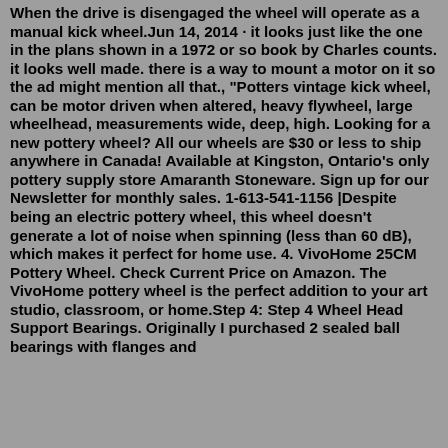When the drive is disengaged the wheel will operate as a manual kick wheel.Jun 14, 2014 · it looks just like the one in the plans shown in a 1972 or so book by Charles counts. it looks well made. there is a way to mount a motor on it so the ad might mention all that., "Potters vintage kick wheel, can be motor driven when altered, heavy flywheel, large wheelhead, measurements wide, deep, high. Looking for a new pottery wheel? All our wheels are $30 or less to ship anywhere in Canada! Available at Kingston, Ontario's only pottery supply store Amaranth Stoneware. Sign up for our Newsletter for monthly sales. 1-613-541-1156 |Despite being an electric pottery wheel, this wheel doesn't generate a lot of noise when spinning (less than 60 dB), which makes it perfect for home use. 4. VivoHome 25CM Pottery Wheel. Check Current Price on Amazon. The VivoHome pottery wheel is the perfect addition to your art studio, classroom, or home.Step 4: Step 4 Wheel Head Support Bearings. Originally I purchased 2 sealed ball bearings with flanges and